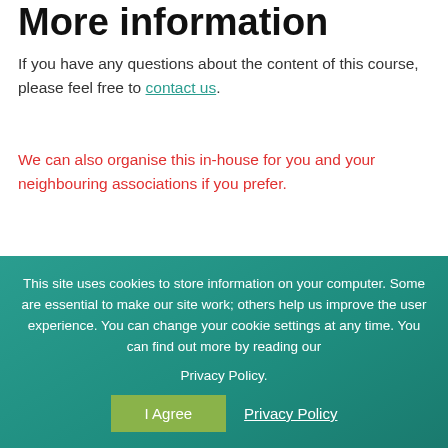More information
If you have any questions about the content of this course, please feel free to contact us.
We can also organise this in-house for you and your neighbouring associations if you prefer.
Bill Irvine
UC Advice & Advocacy Ltd
Share this article
[Figure (illustration): Three circular social media share buttons (Facebook blue, LinkedIn blue, Twitter/share blue)]
This site uses cookies to store information on your computer. Some are essential to make our site work; others help us improve the user experience. You can change your cookie settings at any time. You can find out more by reading our Privacy Policy.
I Agree
Privacy Policy